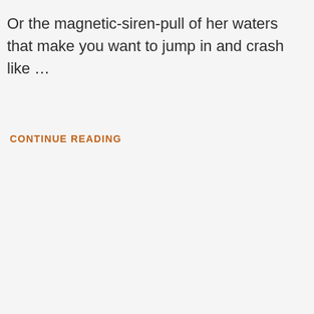Or the magnetic-siren-pull of her waters that make you want to jump in and crash like …
CONTINUE READING